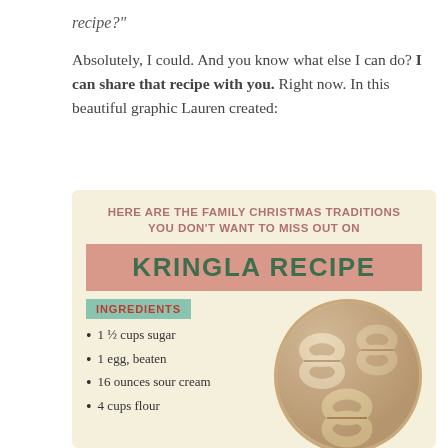recipe?"
Absolutely, I could. And you know what else I can do? I can share that recipe with you. Right now. In this beautiful graphic Lauren created:
[Figure (infographic): Infographic with cream/beige background titled 'Here are the family Christmas traditions you don't want to miss out on' with a pink banner reading 'KRINGLA RECIPE', a teal 'INGREDIENTS' label listing 1½ cups sugar, 1 egg beaten, 16 ounces sour cream, 4 cups flour, and a circular photo of kringla cookies.]